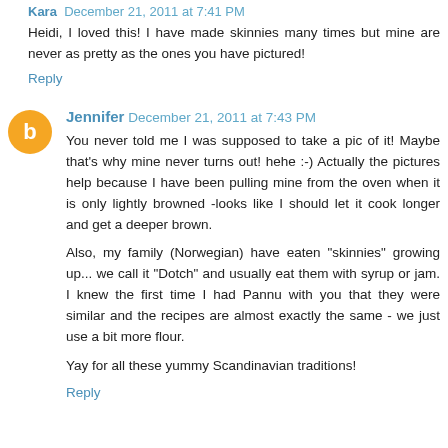Kara December 21, 2011 at 7:41 PM
Heidi, I loved this! I have made skinnies many times but mine are never as pretty as the ones you have pictured!
Reply
Jennifer December 21, 2011 at 7:43 PM
You never told me I was supposed to take a pic of it! Maybe that's why mine never turns out! hehe :-) Actually the pictures help because I have been pulling mine from the oven when it is only lightly browned -looks like I should let it cook longer and get a deeper brown.
Also, my family (Norwegian) have eaten "skinnies" growing up... we call it "Dotch" and usually eat them with syrup or jam. I knew the first time I had Pannu with you that they were similar and the recipes are almost exactly the same - we just use a bit more flour.
Yay for all these yummy Scandinavian traditions!
Reply